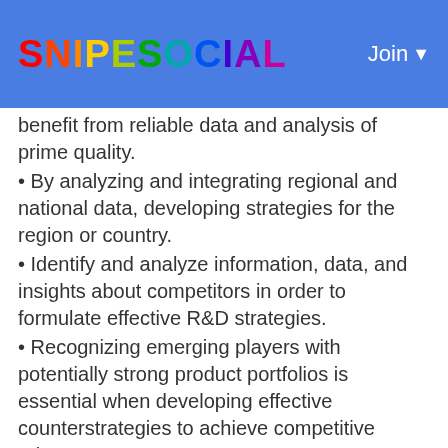SNIPESOCIAL  Join
benefit from reliable data and analysis of prime quality.
By analyzing and integrating regional and national data, developing strategies for the region or country.
Identify and analyze information, data, and insights about competitors in order to formulate effective R&D strategies.
Recognizing emerging players with potentially strong product portfolios is essential when developing effective counterstrategies to achieve competitive advantage.
With just a couple of days' notice, we deliver the latest reports based on our most recent data.
A merger and acquisition strategy that is profit-driven can be devised by identifying top